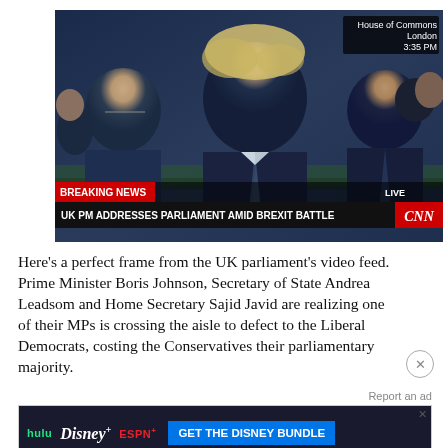[Figure (screenshot): CNN Breaking News screenshot showing UK Prime Minister Boris Johnson addressing Parliament. Secretary of State Andrea Leadsom and Home Secretary Sajid Javid visible behind him. Location overlay shows 'House of Commons London 3:35 PM'. Breaking news ticker reads 'UK PM ADDRESSES PARLIAMENT AMID BREXIT BATTLE'. LIVE bug and CNN logo visible.]
Here's a perfect frame from the UK parliament's video feed. Prime Minister Boris Johnson, Secretary of State Andrea Leadsom and Home Secretary Sajid Javid are realizing one of their MPs is crossing the aisle to defect to the Liberal Democrats, costing the Conservatives their parliamentary majority.
Report an ad
[Figure (screenshot): Disney Bundle advertisement banner showing Hulu, Disney+, and ESPN+ logos with 'GET THE DISNEY BUNDLE' call-to-action button. Fine print: 'Incl. Hulu (ad-supported) or Hulu (No Ads). Access content from each service separately. ©2021 Disney and its related entities']